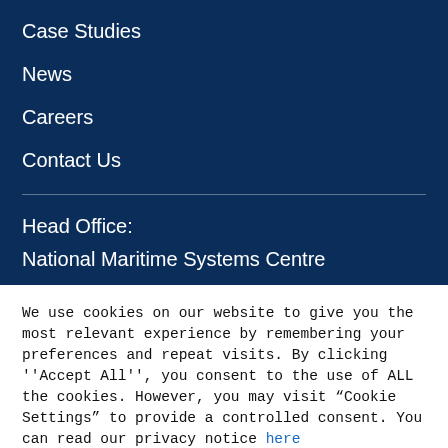Case Studies
News
Careers
Contact Us
Head Office:
National Maritime Systems Centre
We use cookies on our website to give you the most relevant experience by remembering your preferences and repeat visits. By clicking ''Accept All'', you consent to the use of ALL the cookies. However, you may visit “Cookie Settings” to provide a controlled consent. You can read our privacy notice here
Cookie Settings
Accept All